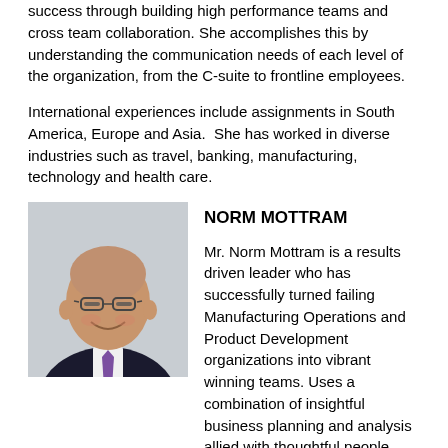success through building high performance teams and cross team collaboration. She accomplishes this by understanding the communication needs of each level of the organization, from the C-suite to frontline employees.
International experiences include assignments in South America, Europe and Asia.  She has worked in diverse industries such as travel, banking, manufacturing, technology and health care.
[Figure (photo): Headshot of Norm Mottram, a bald man wearing glasses and a dark suit with a purple tie, smiling.]
NORM MOTTRAM
Mr. Norm Mottram is a results driven leader who has successfully turned failing Manufacturing Operations and Product Development organizations into vibrant winning teams. Uses a combination of insightful business planning and analysis allied with thoughtful people management and team building to develop teams who surpass quality, schedule and budget goals.
...continued text at bottom...